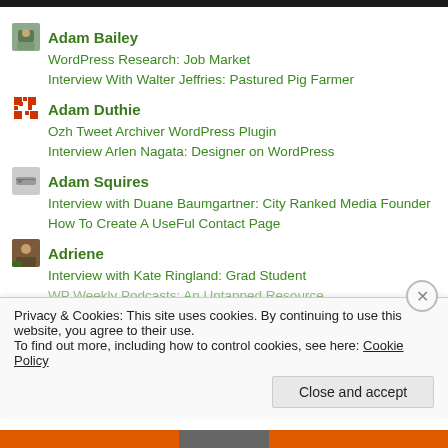Adam Bailey
WordPress Research: Job Market
Interview With Walter Jeffries: Pastured Pig Farmer
Adam Duthie
Ozh Tweet Archiver WordPress Plugin
Interview Arlen Nagata: Designer on WordPress
Adam Squires
Interview with Duane Baumgartner: City Ranked Media Founder
How To Create A UseFul Contact Page
Adriene
Interview with Kate Ringland: Grad Student
WP Weekly Podcasts: An Untapped Resource
Privacy & Cookies: This site uses cookies. By continuing to use this website, you agree to their use.
To find out more, including how to control cookies, see here: Cookie Policy
Close and accept